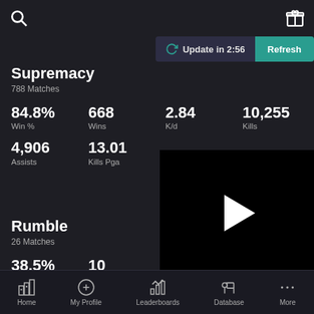Search | Gift
Update in 2:56 | Refresh
Supremacy
788 Matches
| Stat | Value |
| --- | --- |
| Win % | 84.8% |
| Wins | 668 |
| K/d | 2.84 |
| Kills | 10,255 |
| Assists | 4,906 |
| Kills Pga | 13.01 |
Rumble
26 Matches
| Stat | Value |
| --- | --- |
| Win % | 38.5% |
| Wins | 10 |
| Assists | 31 |
| Kills Pga | 14.27 |
[Figure (screenshot): Video player overlay showing a black screen with a white play button triangle in the center, and a controls bar above with three-dot menu and a close (X) button]
Home | My Profile | Leaderboards | Database | More